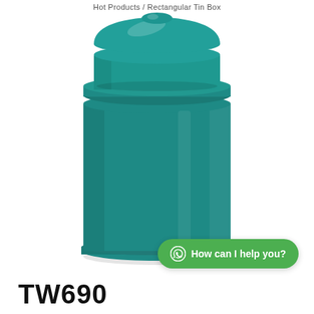Hot Products / Rectangular Tin Box
[Figure (photo): A teal/turquoise colored cylindrical tin box with a domed lid, photographed on a white background.]
How can I help you?
TW690